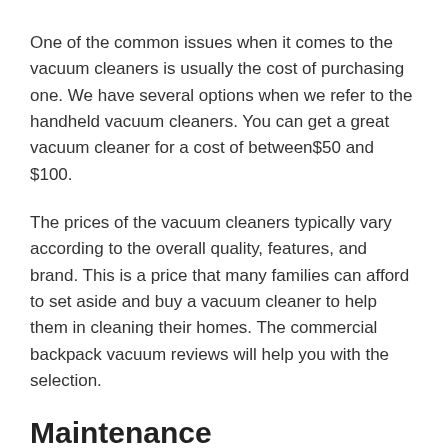One of the common issues when it comes to the vacuum cleaners is usually the cost of purchasing one. We have several options when we refer to the handheld vacuum cleaners. You can get a great vacuum cleaner for a cost of between$50 and $100.
The prices of the vacuum cleaners typically vary according to the overall quality, features, and brand. This is a price that many families can afford to set aside and buy a vacuum cleaner to help them in cleaning their homes. The commercial backpack vacuum reviews will help you with the selection.
Maintenance